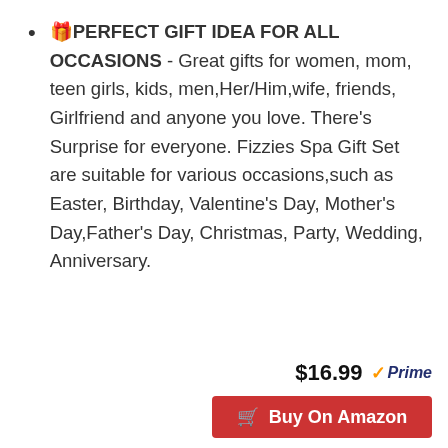🎁PERFECT GIFT IDEA FOR ALL OCCASIONS - Great gifts for women, mom, teen girls, kids, men,Her/Him,wife, friends, Girlfriend and anyone you love. There's Surprise for everyone. Fizzies Spa Gift Set are suitable for various occasions,such as Easter, Birthday, Valentine's Day, Mother's Day,Father's Day, Christmas, Party, Wedding, Anniversary.
$16.99 ✓Prime
🛒 Buy On Amazon